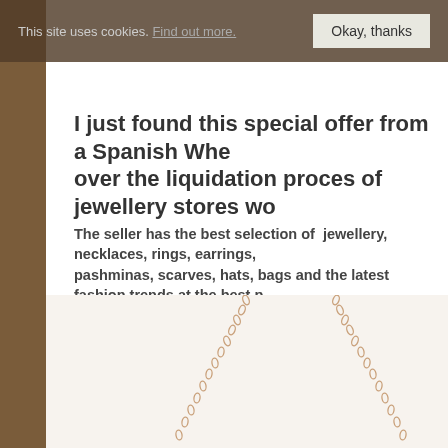This site uses cookies. Find out more. Okay, thanks
I just found this special offer from a Spanish Whe over the liquidation proces of jewellery stores wo
The seller has the best selection of jewellery, necklaces, rings, earrings, pashminas, scarves, hats, bags and the latest fashion trends at the best p
In his offer I found steel jewellery sets like Necklace and earrings all packed in than 50 models which is really a lot. The seller has jewellery made of various m and of course he offers us all kinds of modern designs for example this season infinity sign, moon, pearl zirconite or the hand of Fatima and many more.
[Figure (photo): Photo of gold/rose gold necklace chains hanging, shown from top portion with chain links visible against white background.]